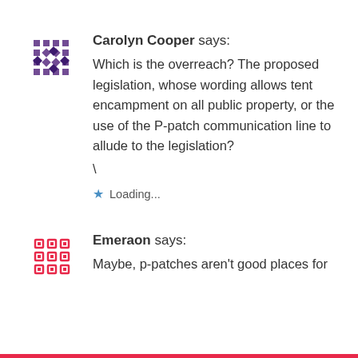[Figure (illustration): Purple/dark mosaic geometric avatar icon for user Carolyn Cooper]
Carolyn Cooper says:
Which is the overreach? The proposed legislation, whose wording allows tent encampment on all public property, or the use of the P-patch communication line to allude to the legislation?
\
★ Loading...
[Figure (illustration): Red/pink dashed geometric avatar icon for user Emeraon]
Emeraon says:
Maybe, p-patches aren't good places for